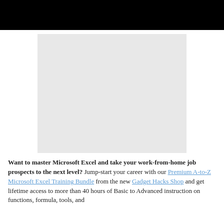[Figure (photo): Black navigation bar at top of webpage]
[Figure (photo): Light gray image placeholder rectangle]
Want to master Microsoft Excel and take your work-from-home job prospects to the next level? Jump-start your career with our Premium A-to-Z Microsoft Excel Training Bundle from the new Gadget Hacks Shop and get lifetime access to more than 40 hours of Basic to Advanced instruction on functions, formula, tools, and